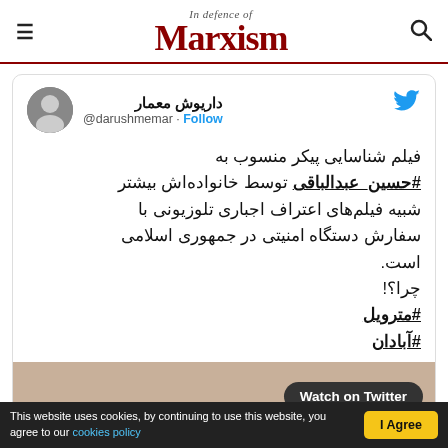In defence of Marxism
[Figure (screenshot): Tweet from @darushmemar (داریوش معمار) with Persian text about a film identification and hashtags #حسین_عبدالباقی, #مترویل, #آبادان, with a Watch on Twitter button]
This website uses cookies, by continuing to use this website, you agree to our cookies policy | I Agree